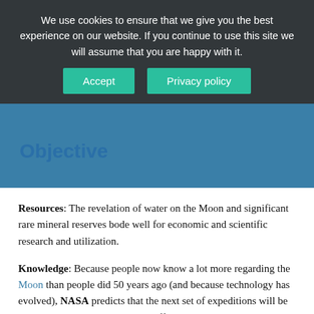We use cookies to ensure that we give you the best experience on our website. If you continue to use this site we will assume that you are happy with it.
Objectives
Resources: The revelation of water on the Moon and significant rare mineral reserves bode well for economic and scientific research and utilization.
Knowledge: Because people now know a lot more regarding the Moon than people did 50 years ago (and because technology has evolved), NASA predicts that the next set of expeditions will be able to recover specimens more effectively than the Apollo missions did.
Long-term presence: Artemis intends to create a longer settlement on the moon's surface, where another mission, the Apollo 17 crew, lasted three days. This will allow visits to be extended to weeks, if not months.